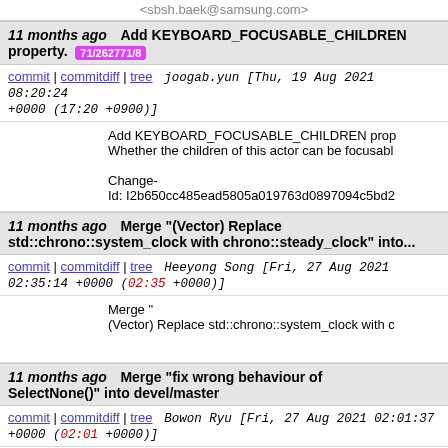<sbsh.baek@samsung.com>
11 months ago  Add KEYBOARD_FOCUSABLE_CHILDREN property.  71/262771/8
commit | commitdiff | tree   joogab.yun [Thu, 19 Aug 2021 08:20:24 +0000 (17:20 +0900)]
Add KEYBOARD_FOCUSABLE_CHILDREN prop Whether the children of this actor can be focusabl Change-Id: I2b650cc485ead5805a019763d0897094c5bd2
11 months ago  Merge "(Vector) Replace std::chrono::system_clock with chrono::steady_clock" into...
commit | commitdiff | tree   Heeyong Song [Fri, 27 Aug 2021 02:35:14 +0000 (02:35 +0000)]
Merge " (Vector) Replace std::chrono::system_clock with c
11 months ago  Merge "fix wrong behaviour of SelectNone()" into devel/master
commit | commitdiff | tree   Bowon Ryu [Fri, 27 Aug 2021 02:01:37 +0000 (02:01 +0000)]